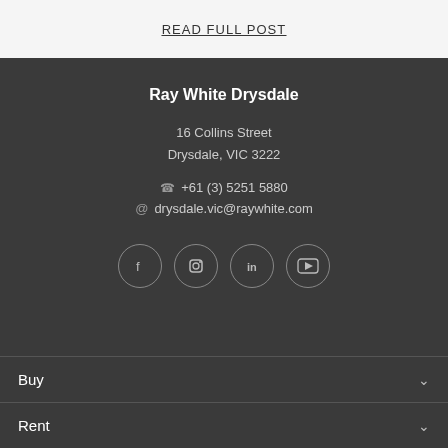READ FULL POST
Ray White Drysdale
16 Collins Street
Drysdale, VIC 3222
+61 (3) 5251 5880
drysdale.vic@raywhite.com
[Figure (infographic): Social media icons: Facebook, Instagram, LinkedIn, YouTube — each in a grey outlined circle]
Buy
Rent